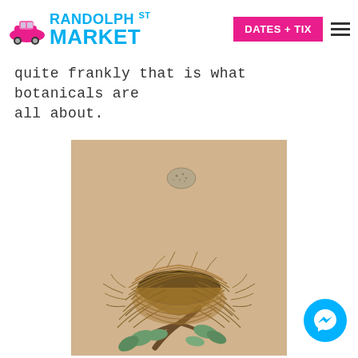Randolph St Market — DATES + TIX
quite frankly that is what botanicals are all about.
[Figure (illustration): Vintage botanical illustration of a bird's nest with woven straw/grass construction sitting on a branch with green leaves, and a single speckled egg floating above the nest, on aged beige/tan paper background.]
[Figure (logo): Facebook Messenger circular button icon in cyan/blue]